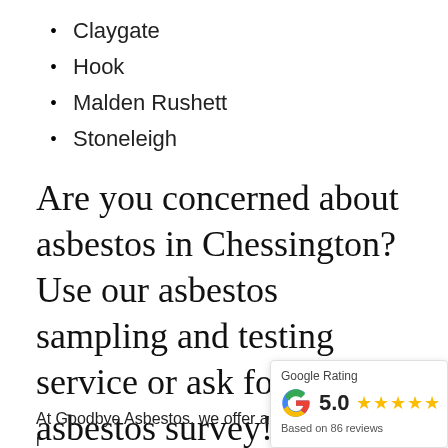Claygate
Hook
Malden Rushett
Stoneleigh
Are you concerned about asbestos in Chessington? Use our asbestos sampling and testing service or ask for an asbestos survey!
At Goodbye Asbestos, we offer a r
[Figure (infographic): Google Rating widget showing 5.0 stars based on 86 reviews, with Google G logo and five orange stars.]